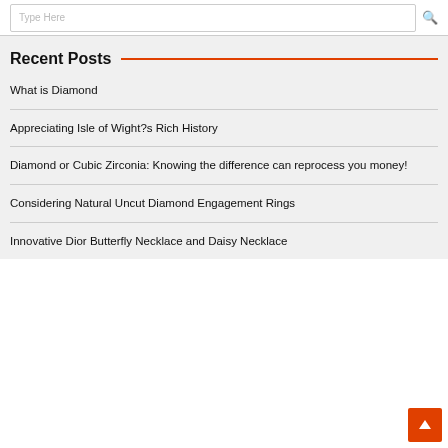Type Here
Recent Posts
What is Diamond
Appreciating Isle of Wight?s Rich History
Diamond or Cubic Zirconia: Knowing the difference can reprocess you money!
Considering Natural Uncut Diamond Engagement Rings
Innovative Dior Butterfly Necklace and Daisy Necklace